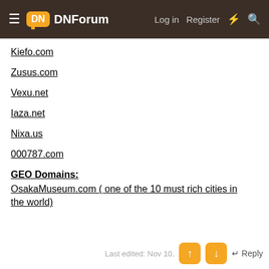DNForum — Log in | Register
Kiefo.com
Zusus.com
Vexu.net
Iaza.net
Nixa.us
000787.com
GEO Domains:
OsakaMuseum.com ( one of the 10 must rich cities in the world)
Last edited: Nov 10,